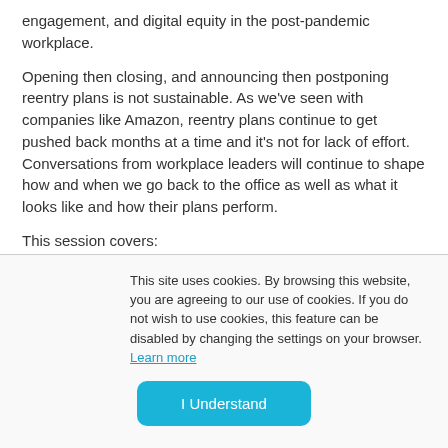engagement, and digital equity in the post-pandemic workplace.
Opening then closing, and announcing then postponing reentry plans is not sustainable. As we've seen with companies like Amazon, reentry plans continue to get pushed back months at a time and it's not for lack of effort. Conversations from workplace leaders will continue to shape how and when we go back to the office as well as what it looks like and how their plans perform.
This session covers:
This site uses cookies. By browsing this website, you are agreeing to our use of cookies. If you do not wish to use cookies, this feature can be disabled by changing the settings on your browser. Learn more
I Understand